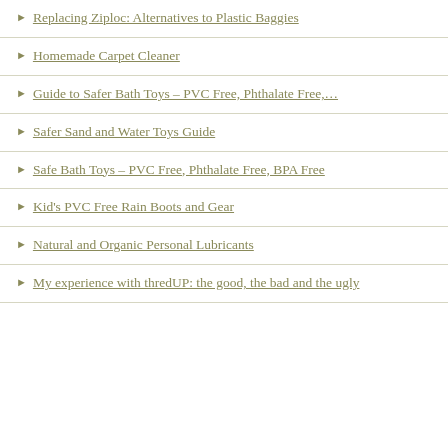Replacing Ziploc: Alternatives to Plastic Baggies
Homemade Carpet Cleaner
Guide to Safer Bath Toys – PVC Free, Phthalate Free,…
Safer Sand and Water Toys Guide
Safe Bath Toys – PVC Free, Phthalate Free, BPA Free
Kid's PVC Free Rain Boots and Gear
Natural and Organic Personal Lubricants
My experience with thredUP: the good, the bad and the ugly